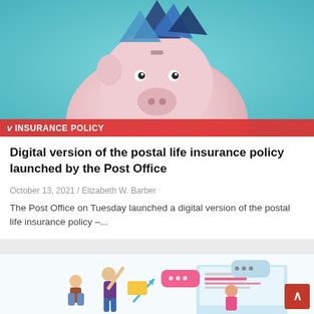[Figure (photo): Piggy bank with colorful geometric paper hat shapes on top, against a teal/blue background. Red tag bar at bottom reads INSURANCE POLICY.]
Digital version of the postal life insurance policy launched by the Post Office
October 13, 2021 / Elizabeth W. Barber
The Post Office on Tuesday launched a digital version of the postal life insurance policy –...
[Figure (illustration): Digital illustration showing people interacting with technology - figures with mobile phone, laptop, chat bubbles, and digital interface elements. Teal and pink color scheme.]